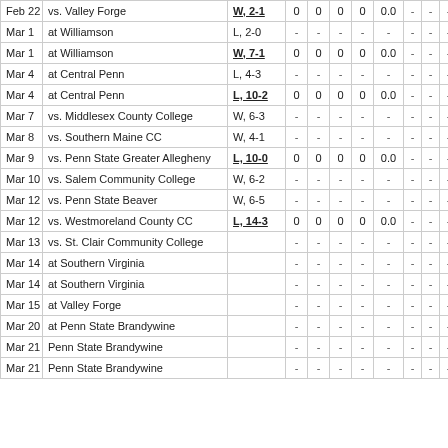| Date | Opponent | Result |  |  |  |  | ERA |  |  |  |  |
| --- | --- | --- | --- | --- | --- | --- | --- | --- | --- | --- | --- |
| Feb 22 | vs. Valley Forge | W, 2-1 | 0 | 0 | 0 | 0 | 0.0 | - | - | - | 0.0 |
| Mar 1 | at Williamson | L, 2-0 | - | - | - | - | - | - | - | - | - |
| Mar 1 | at Williamson | W, 7-1 | 0 | 0 | 0 | 0 | 0.0 | - | - | - | 0.0 |
| Mar 4 | at Central Penn | L, 4-3 | - | - | - | - | - | - | - | - | - |
| Mar 4 | at Central Penn | L, 10-2 | 0 | 0 | 0 | 0 | 0.0 | - | - | - | 0.0 |
| Mar 7 | vs. Middlesex County College | W, 6-3 | - | - | - | - | - | - | - | - | - |
| Mar 8 | vs. Southern Maine CC | W, 4-1 | - | - | - | - | - | - | - | - | - |
| Mar 9 | vs. Penn State Greater Allegheny | L, 10-0 | 0 | 0 | 0 | 0 | 0.0 | - | - | - | 0.0 |
| Mar 10 | vs. Salem Community College | W, 6-2 | - | - | - | - | - | - | - | - | - |
| Mar 12 | vs. Penn State Beaver | W, 6-5 | - | - | - | - | - | - | - | - | - |
| Mar 12 | vs. Westmoreland County CC | L, 14-3 | 0 | 0 | 0 | 0 | 0.0 | - | - | - | 0.0 |
| Mar 13 | vs. St. Clair Community College |  | - | - | - | - | - | - | - | - | - |
| Mar 14 | at Southern Virginia |  | - | - | - | - | - | - | - | - | - |
| Mar 14 | at Southern Virginia |  | - | - | - | - | - | - | - | - | - |
| Mar 15 | at Valley Forge |  | - | - | - | - | - | - | - | - | - |
| Mar 20 | at Penn State Brandywine |  | - | - | - | - | - | - | - | - | - |
| Mar 21 | Penn State Brandywine |  | - | - | - | - | - | - | - | - | - |
| Mar 21 | Penn State Brandywine |  | - | - | - | - | - | - | - | - | - |